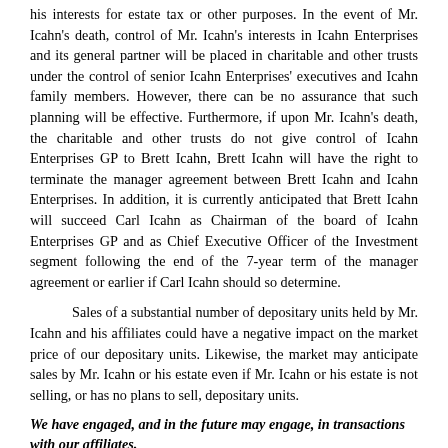his interests for estate tax or other purposes. In the event of Mr. Icahn's death, control of Mr. Icahn's interests in Icahn Enterprises and its general partner will be placed in charitable and other trusts under the control of senior Icahn Enterprises' executives and Icahn family members. However, there can be no assurance that such planning will be effective. Furthermore, if upon Mr. Icahn's death, the charitable and other trusts do not give control of Icahn Enterprises GP to Brett Icahn, Brett Icahn will have the right to terminate the manager agreement between Brett Icahn and Icahn Enterprises. In addition, it is currently anticipated that Brett Icahn will succeed Carl Icahn as Chairman of the board of Icahn Enterprises GP and as Chief Executive Officer of the Investment segment following the end of the 7-year term of the manager agreement or earlier if Carl Icahn should so determine.
Sales of a substantial number of depositary units held by Mr. Icahn and his affiliates could have a negative impact on the market price of our depositary units. Likewise, the market may anticipate sales by Mr. Icahn or his estate even if Mr. Icahn or his estate is not selling, or has no plans to sell, depositary units.
We have engaged, and in the future may engage, in transactions with our affiliates.
We have invested and may in the future invest in entities in which Mr. Icahn also invests. We also have purchased and may in the future purchase entities or investments from him or his